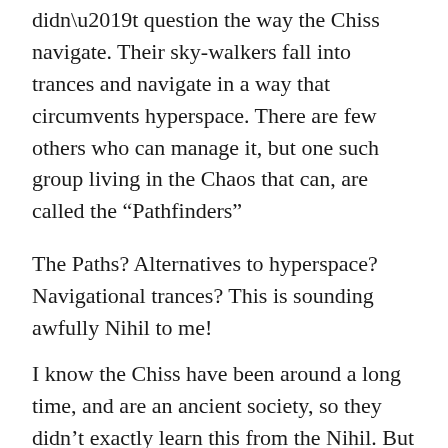didn't question the way the Chiss navigate. Their sky-walkers fall into trances and navigate in a way that circumvents hyperspace. There are few others who can manage it, but one such group living in the Chaos that can, are called the “Pathfinders”
The Paths? Alternatives to hyperspace? Navigational trances? This is sounding awfully Nihil to me!
I know the Chiss have been around a long time, and are an ancient society, so they didn’t exactly learn this from the Nihil. But did the Nihil learn